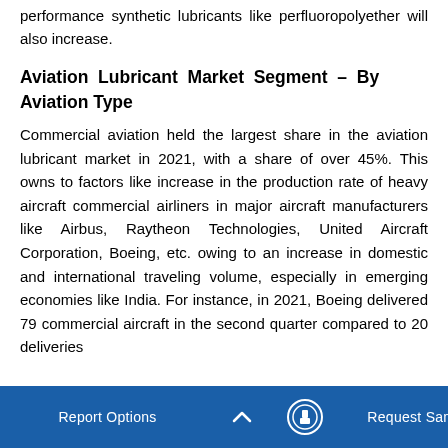performance synthetic lubricants like perfluoropolyether will also increase.
Aviation Lubricant Market Segment – By Aviation Type
Commercial aviation held the largest share in the aviation lubricant market in 2021, with a share of over 45%. This owns to factors like increase in the production rate of heavy aircraft commercial airliners in major aircraft manufacturers like Airbus, Raytheon Technologies, United Aircraft Corporation, Boeing, etc. owing to an increase in domestic and international traveling volume, especially in emerging economies like India. For instance, in 2021, Boeing delivered 79 commercial aircraft in the second quarter compared to 20 deliveries
Report Options  Request Sample